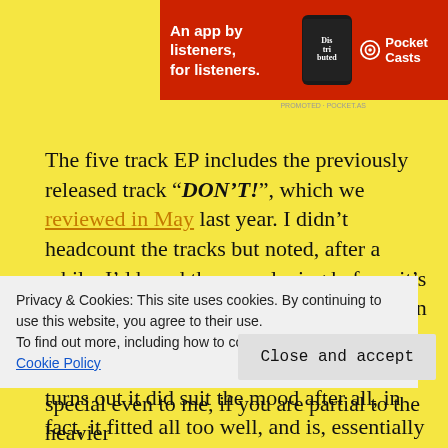[Figure (screenshot): Pocket Casts advertisement banner with red background. Text reads 'An app by listeners, for listeners.' with Pocket Casts logo and phone graphic.]
The five track EP includes the previously released track “DON’T!”, which we reviewed in May last year. I didn’t headcount the tracks but noted, after a while, I’d heard the one playing before; it’s gone around on repeat unnoticed, I’ve been sucked in, and it surpassed my preconceptions by a country mile. Ha, turns out it did suit the mood after all, in fact, it fitted all too well, and is, essentially a
Privacy & Cookies: This site uses cookies. By continuing to use this website, you agree to their use.
To find out more, including how to control cookies, see here: Cookie Policy
Close and accept
special even to me, if you are partial to the heavier